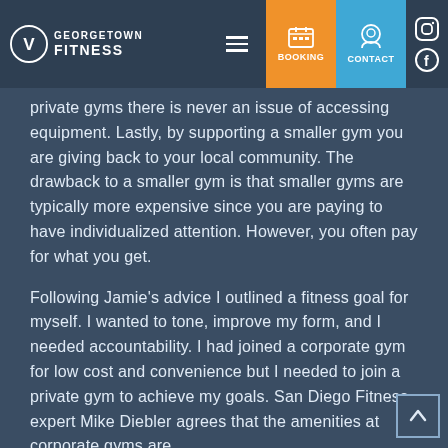Georgetown Fitness — Navigation bar with Booking and Contact buttons, Instagram and Facebook social icons
private gyms there is never an issue of accessing equipment. Lastly, by supporting a smaller gym you are giving back to your local community. The drawback to a smaller gym is that smaller gyms are typically more expensive since you are paying to have individualized attention. However, you often pay for what you get.
Following Jamie's advice I outlined a fitness goal for myself. I wanted to tone, improve my form, and I needed accountability. I had joined a corporate gym for low cost and convenience but I needed to join a private gym to achieve my goals. San Diego Fitness expert Mike Diebler agrees that the amenities at corporate gyms are